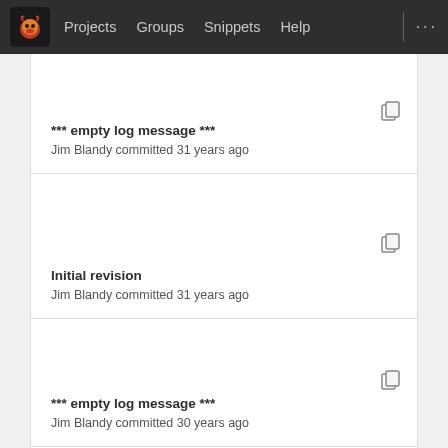Projects  Groups  Snippets  Help
*** empty log message ***
Jim Blandy committed 31 years ago
Initial revision
Jim Blandy committed 31 years ago
*** empty log message ***
Jim Blandy committed 30 years ago